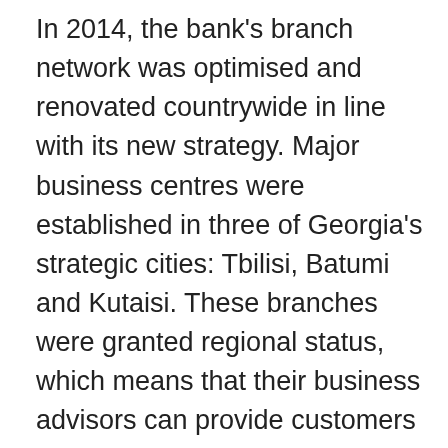In 2014, the bank's branch network was optimised and renovated countrywide in line with its new strategy. Major business centres were established in three of Georgia's strategic cities: Tbilisi, Batumi and Kutaisi. These branches were granted regional status, which means that their business advisors can provide customers with high-quality banking services on-site, both in the cities and in the wider region. In 2014, the bank decided to place a special focus on effective and convenient remote services. Self-service areas were introduced in all of the branches renovated during the year, offering customers around-the-clock